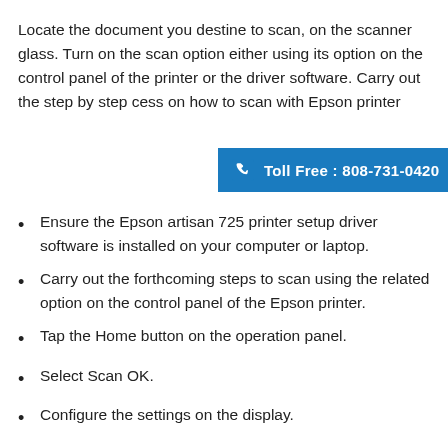Locate the document you destine to scan, on the scanner glass. Turn on the scan option either using its option on the control panel of the printer or the driver software. Carry out the step by step cess on how to scan with Epson printer
[Figure (infographic): Blue banner with phone icon and text: Toll Free : 808-731-0420]
Ensure the Epson artisan 725 printer setup driver software is installed on your computer or laptop.
Carry out the forthcoming steps to scan using the related option on the control panel of the Epson printer.
Tap the Home button on the operation panel.
Select Scan OK.
Configure the settings on the display.
Pick your computer name in the list of devices that displays on the screen.